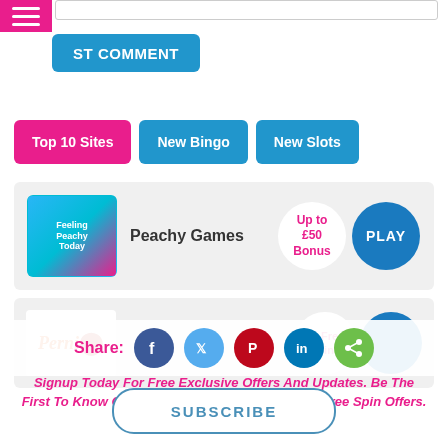[Figure (screenshot): Hamburger menu icon (red/pink background with three white lines)]
ST COMMENT
Top 10 Sites
New Bingo
New Slots
Peachy Games — Up to £50 Bonus — PLAY
40 Free Spins
Share:
Signup Today For Free Exclusive Offers And Updates. Be The First To Know Of New Bingo Sites Bonuses And Free Spin Offers.
SUBSCRIBE